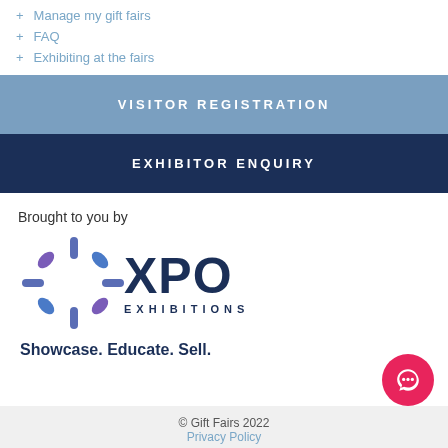+ Manage my gift fairs
+ FAQ
+ Exhibiting at the fairs
VISITOR REGISTRATION
EXHIBITOR ENQUIRY
Brought to you by
[Figure (logo): XPO Exhibitions logo with decorative starburst/snowflake icon in blue and purple tones, company name XPO EXHIBITIONS in dark navy, tagline Showcase. Educate. Sell. in dark navy bold]
© Gift Fairs 2022 Privacy Policy